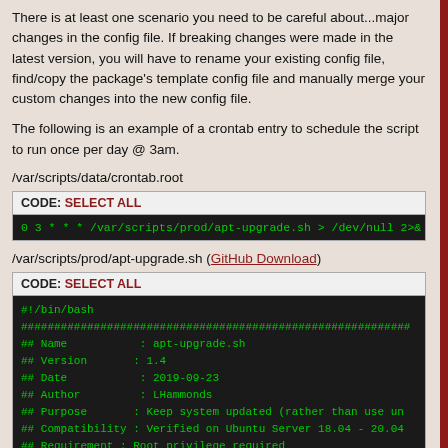There is at least one scenario you need to be careful about...major changes in the config file. If breaking changes were made in the latest version, you will have to rename your existing config file, find/copy the package's template config file and manually merge your custom changes into the new config file.
The following is an example of a crontab entry to schedule the script to run once per day @ 3am.
/var/scripts/data/crontab.root
CODE: SELECT ALL
0 3 * * * /var/scripts/prod/apt-upgrade.sh > /dev/null 2>&
/var/scripts/prod/apt-upgrade.sh (GitHub Download)
CODE: SELECT ALL
#!/bin/bash
###########################################################
## Name      : apt-upgrade.sh
## Version   : 1.4
## Date      : 2019-09-23
## Author    : LHammonds
## Purpose   : Keep system updated (rather than use un
## Compatibility : Verified on Ubuntu Server 18.04 - 20.04
## Requirement : Root privilege required